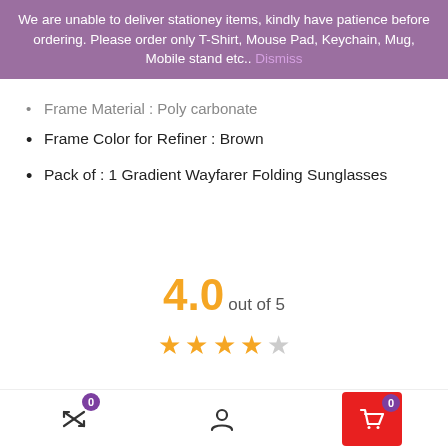We are unable to deliver stationey items, kindly have patience before ordering. Please order only T-Shirt, Mouse Pad, Keychain, Mug, Mobile stand etc.. Dismiss
Frame Material : Poly carbonate
Frame Color for Refiner : Brown
Pack of : 1 Gradient Wayfarer Folding Sunglasses
[Figure (other): Product rating section showing 4.0 out of 5 stars with star bar chart. 5-star: 1 review (orange bar), 4-star: 0 reviews (empty bar).]